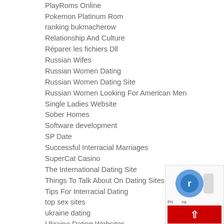PlayRoms Online
Pokemon Platinum Rom
ranking bukmacherow
Relationship And Culture
Réparer les fichiers Dll
Russian Wifes
Russian Women Dating
Russian Women Dating Site
Russian Women Looking For American Men
Single Ladies Website
Sober Homes
Software development
SP Date
Successful Interracial Marriages
SuperCat Casino
The International Dating Site
Things To Talk About On Dating Sites
Tips For Interracial Dating
top sex sites
ukraine dating
Ukraine Dating Websites
Ukrainian Dating Culture
Uncategorized
wordpress